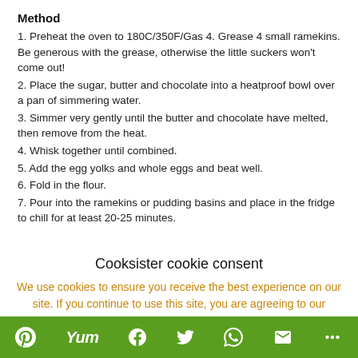Method
1. Preheat the oven to 180C/350F/Gas 4. Grease 4 small ramekins. Be generous with the grease, otherwise the little suckers won't come out!
2. Place the sugar, butter and chocolate into a heatproof bowl over a pan of simmering water.
3. Simmer very gently until the butter and chocolate have melted, then remove from the heat.
4. Whisk together until combined.
5. Add the egg yolks and whole eggs and beat well.
6. Fold in the flour.
7. Pour into the ramekins or pudding basins and place in the fridge to chill for at least 20-25 minutes.
Cooksister cookie consent
We use cookies to ensure you receive the best experience on our site. If you continue to use this site, you are agreeing to our
[Figure (infographic): Social sharing bar with icons for Pinterest, Yum, Facebook, Twitter, WhatsApp, Email, and More on a green background]